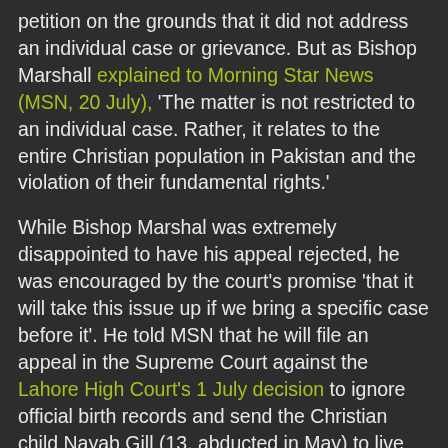petition on the grounds that it did not address an individual case or grievance. But as Bishop Marshall explained to Morning Star News (MSN, 20 July), 'The matter is not restricted to an individual case. Rather, it relates to the entire Christian population in Pakistan and the violation of their fundamental rights.'
While Bishop Marshal was extremely disappointed to have his appeal rejected, he was encouraged by the court's promise 'that it will take this issue up if we bring a specific case before it'. He told MSN that he will file an appeal in the Supreme Court against the Lahore High Court's 1 July decision to ignore official birth records and send the Christian child Nayab Gill (13, abducted in May) to live with her Muslim abductor, Saddam Hayat (30), a married father of four. In making his ruling the Lahore High Court judge cited Islamic Sharia Law which says a girl who has had a menstrual cycle is of marriageable age. Please pray for Nayab Gill, and that Bishop Marshall's...